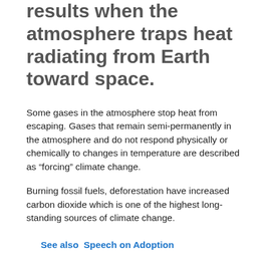results when the atmosphere traps heat radiating from Earth toward space.
Some gases in the atmosphere stop heat from escaping. Gases that remain semi-permanently in the atmosphere and do not respond physically or chemically to changes in temperature are described as “forcing” climate change.
Burning fossil fuels, deforestation have increased carbon dioxide which is one of the highest long-standing sources of climate change.
See also  Speech on Adoption
Methane. A hydrocarbon gas produced both through